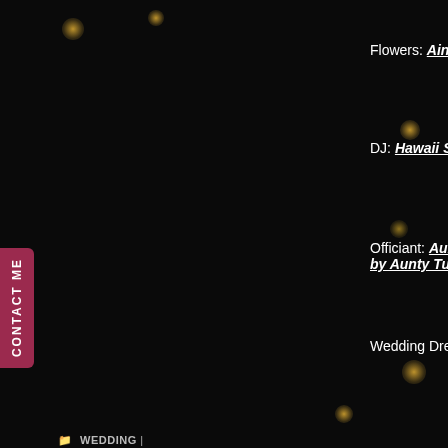Flowers: Ainahua Florals
DJ: Hawaii Sound & Vision
Officiant: Aunty Tutu, Aloha Weddings by Aunty Tutu
Wedding Dress: Stella York
WEDDING | HILTON WAIKOLOA PHOTOGRAPHER, HILTON WAIKOLOA VILLAGE, HILTON WAIKOLOA WEDDING
Caroline and Scott, Hilton Waikoloa